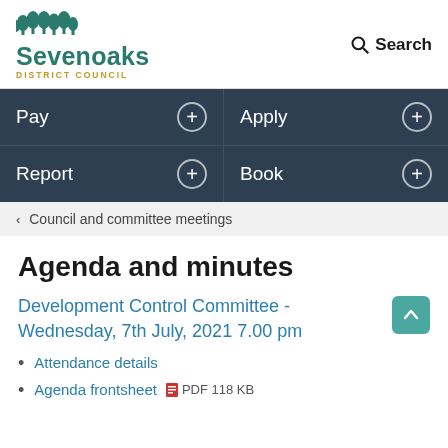[Figure (logo): Sevenoaks District Council logo with green tree icons and teal/gold text]
Search
Pay  Apply  Report  Book
< Council and committee meetings
Agenda and minutes
Development Control Committee - Wednesday, 7th July, 2021 7.00 pm
Attendance details
Agenda frontsheet  PDF 118 KB